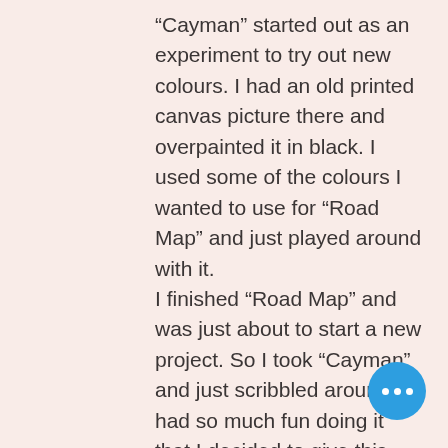“Cayman” started out as an experiment to try out new colours. I had an old printed canvas picture there and overpainted it in black. I used some of the colours I wanted to use for “Road Map” and just played around with it. I finished “Road Map” and was just about to start a new project. So I took “Cayman” and just scribbled around. I had so much fun doing it that I decided to give this idea a go. Out came a colourful jungle and reptile inspired painting. It is the representation of beauty and danger, hence the name. A Cayman is not only a beautiful and luxurious Porsche sports car.